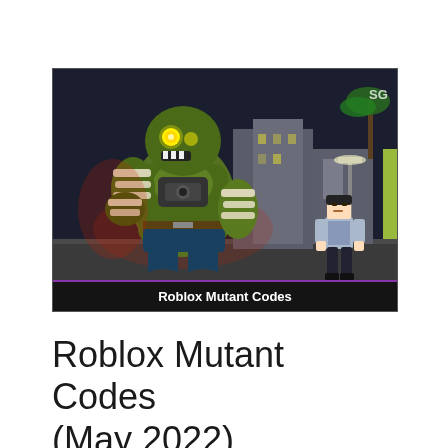[Figure (screenshot): A Roblox game screenshot showing a large green mutant monster character with glowing yellow eyes and bandaged fists facing a smaller Roblox player character in a dark urban environment. The image has a caption bar at the bottom reading 'Roblox Mutant Codes'. An 'SG' watermark is visible in the top right corner.]
Roblox Mutant Codes (May 2022)